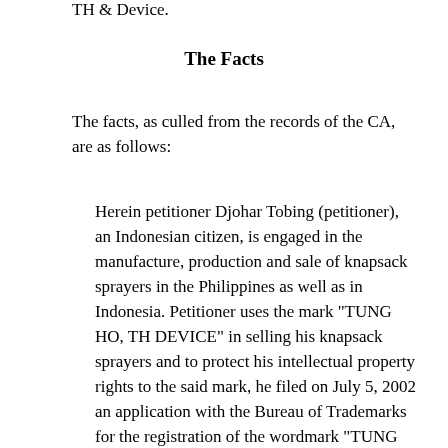TH & Device.
The Facts
The facts, as culled from the records of the CA, are as follows:
Herein petitioner Djohar Tobing (petitioner), an Indonesian citizen, is engaged in the manufacture, production and sale of knapsack sprayers in the Philippines as well as in Indonesia. Petitioner uses the mark "TUNG HO, TH DEVICE" in selling his knapsack sprayers and to protect his intellectual property rights to the said mark, he filed on July 5, 2002 an application with the Bureau of Trademarks for the registration of the wordmark "TUNG HO" for hand sprayers. The said application, however, was eventually denied for petitioner's failure to submit the